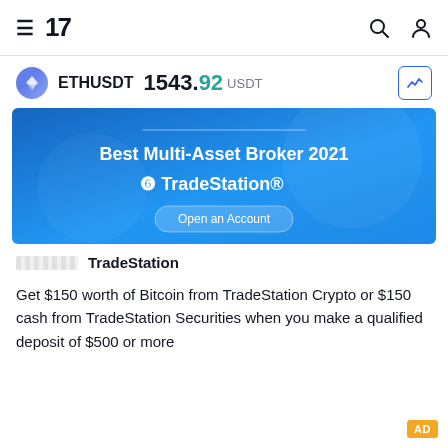TradingView navigation header with hamburger menu, logo, search icon, and user icon
ETHUSDT 1543.92 USDT
[Figure (screenshot): TradeStation advertisement banner with blue gradient background. Text reads: Best Multi-Asset Broker 2021, TradeStation logo, Open an Account button.]
TradeStation
Get $150 worth of Bitcoin from TradeStation Crypto or $150 cash from TradeStation Securities when you make a qualified deposit of $500 or more